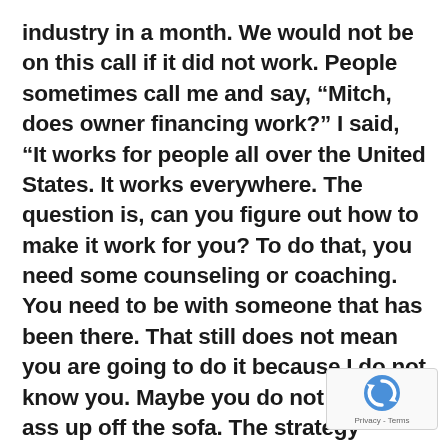industry in a month. We would not be on this call if it did not work. People sometimes call me and say, “Mitch, does owner financing work?” I said, “It works for people all over the United States. It works everywhere. The question is, can you figure out how to make it work for you? To do that, you need some counseling or coaching. You need to be with someone that has been there. That still does not mean you are going to do it because I do not know you. Maybe you do not get your ass up off the sofa. The strategy works. I can show you millions of reasons and evidence.” We go to wrap it up here towards the end but I do not want to leave anything out. Is there anything we have not said, talked about or you
[Figure (other): reCAPTCHA badge with blue circular arrow logo and 'Privacy - Terms' text]